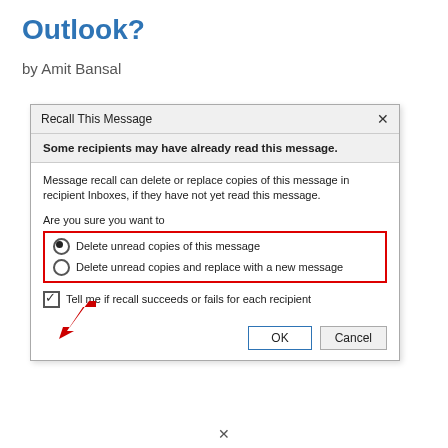Outlook?
by Amit Bansal
[Figure (screenshot): Outlook 'Recall This Message' dialog box showing options to delete unread copies or replace with a new message, a checkbox for notification, and OK/Cancel buttons. A red rectangle highlights the radio button options, and a red arrow points to the checkbox.]